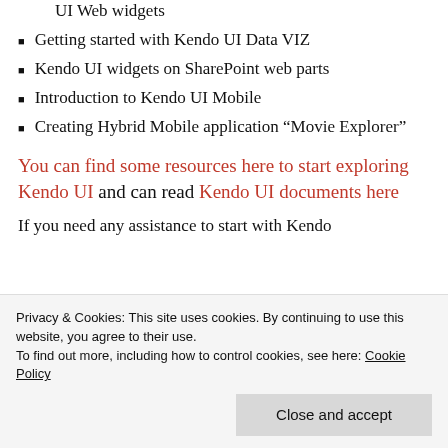Understanding and using different Kendo UI Web widgets
Getting started with Kendo UI Data VIZ
Kendo UI widgets on SharePoint web parts
Introduction to Kendo UI Mobile
Creating Hybrid Mobile application “Movie Explorer”
You can find some resources here to start exploring Kendo UI and can read Kendo UI documents here
If you need any assistance to start with Kendo
Privacy & Cookies: This site uses cookies. By continuing to use this website, you agree to their use.
To find out more, including how to control cookies, see here: Cookie Policy
Close and accept